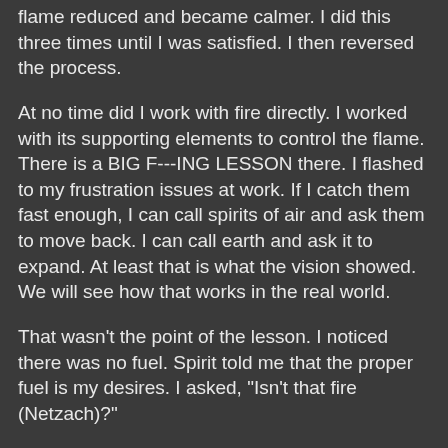flame reduced and became calmer. I did this three times until I was satisfied. I then reversed the process.
At no time did I work with fire directly. I worked with its supporting elements to control the flame. There is a BIG F---ING LESSON there. I flashed to my frustration issues at work. If I catch them fast enough, I can call spirits of air and ask them to move back. I can call earth and ask it to expand. At least that is what the vision showed. We will see how that works in the real world.
That wasn't the point of the lesson. I noticed there was no fuel. Spirit told me that the proper fuel is my desires. I asked, "Isn't that fire (Netzach)?"
"Not when you make them earthly [like wood]," was the answer.
I understand what was being said but not quite how to do this magickally. Is this just a matter of focus? I am not sure. I do know that one of those desires is a new job. I have a plan that I am not ready to discuss yet. Future magick is going